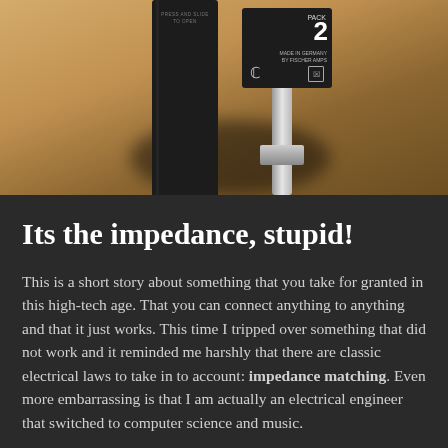[Figure (photo): Photo of two black electronic audio devices (possibly IEM receivers or similar) on a wooden surface, one standing upright on a metal stand/pole. The right device has text: PACK 2, MADE IN GERMANY BY FISCHER AMPS, and CE mark.]
Its the impedance, stupid!
This is a short story about something that you take for granted in this high-tech age. That you can connect anything to anything and that it just works. This time I tripped over something that did not work and it reminded me harshly that there are classic electrical laws to take in to account: impedance matching. Even more embarrassing is that I am actually an electrical engineer that switched to computer science and music.